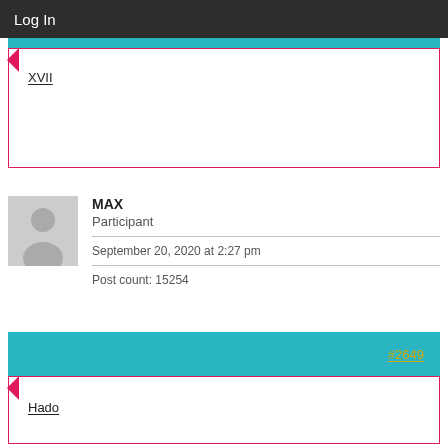Log In
XVII
MAX
Participant
September 20, 2020 at 2:27 pm
Post count: 15254
#2649
Hado